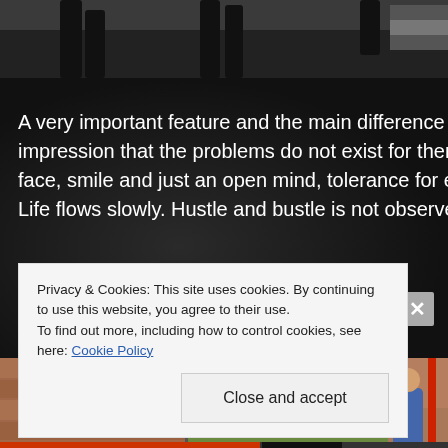[Figure (photo): Top portion of photo showing dark-clothed people walking, cropped to show legs and lower body against a dark background]
A very important feature and the main difference of We impression that the problems do not exist for them, all face, smile and just an open mind, tolerance for everyb Life flows slowly. Hustle and bustle is not observed. Bu
[Figure (photo): Two side-by-side photos: left shows a brick wall with reddish tones, right shows a brick wall with a person sitting against it on grass]
Privacy & Cookies: This site uses cookies. By continuing to use this website, you agree to their use.
To find out more, including how to control cookies, see here: Cookie Policy